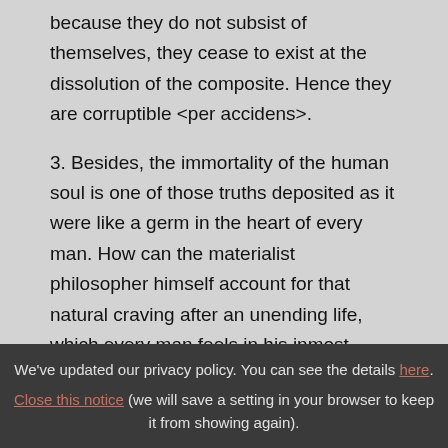because they do not subsist of themselves, they cease to exist at the dissolution of the composite. Hence they are corruptible <per accidens>.
3. Besides, the immortality of the human soul is one of those truths deposited as it were like a germ in the heart of every man. How can the materialist philosopher himself account for that natural craving after an unending life, which every man feels in his inmost heart?
We've updated our privacy policy. You can see the details here. Close this notice (we will save a setting in your browser to keep it from showing again).